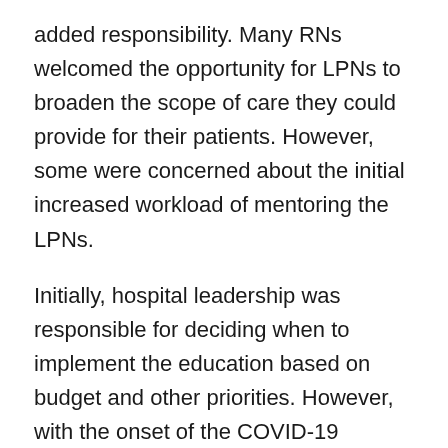added responsibility. Many RNs welcomed the opportunity for LPNs to broaden the scope of care they could provide for their patients. However, some were concerned about the initial increased workload of mentoring the LPNs.
Initially, hospital leadership was responsible for deciding when to implement the education based on budget and other priorities. However, with the onset of the COVID-19 pandemic, Fraser Health prioritized this education across the health authority and approved funding to implement it in all acute care clinical areas that met the criteria for participation. Costs associated with implementation included LPN education time (11.5 hours), facilitator time and supplies.